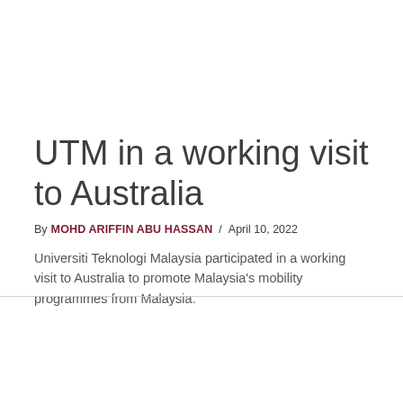UTM in a working visit to Australia
By MOHD ARIFFIN ABU HASSAN / April 10, 2022
Universiti Teknologi Malaysia participated in a working visit to Australia to promote Malaysia's mobility programmes from Malaysia.